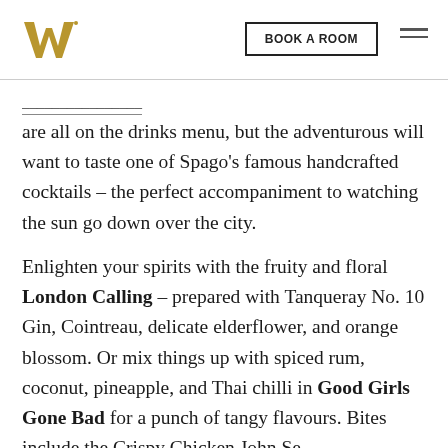W Hotels logo | BOOK A ROOM | menu
are all on the drinks menu, but the adventurous will want to taste one of Spago's famous handcrafted cocktails – the perfect accompaniment to watching the sun go down over the city.
Enlighten your spirits with the fruity and floral London Calling – prepared with Tanqueray No. 10 Gin, Cointreau, delicate elderflower, and orange blossom. Or mix things up with spiced rum, coconut, pineapple, and Thai chilli in Good Girls Gone Bad for a punch of tangy flavours. Bites include the Crispy Chicken...